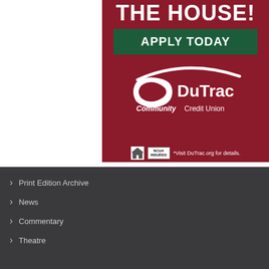[Figure (illustration): DuTrac Community Credit Union advertisement on dark red background. Shows 'THE HOUSE!' text at top cut off, a green 'APPLY TODAY' button, DuTrac Community Credit Union logo with swoosh, Equal Housing and NCUA logos, and text '*Visit DuTrac.org for details.']
Print Edition Archive
News
Commentary
Theatre